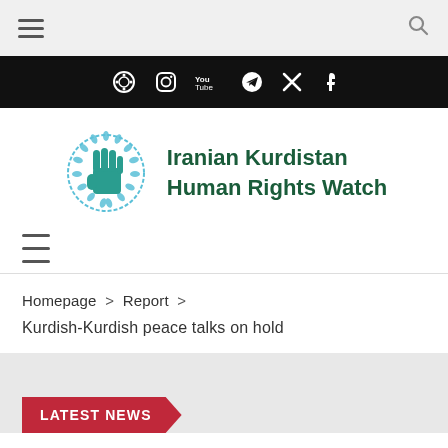Navigation bar with hamburger menu and search icon
[Figure (logo): Black social media icon bar with icons for a video app, Instagram, YouTube, Telegram, Twitter/X, and Facebook]
[Figure (logo): Iranian Kurdistan Human Rights Watch logo with a raised hand inside a laurel wreath circle, with organization name in dark green text]
Homepage > Report > Kurdish-Kurdish peace talks on hold
LATEST NEWS